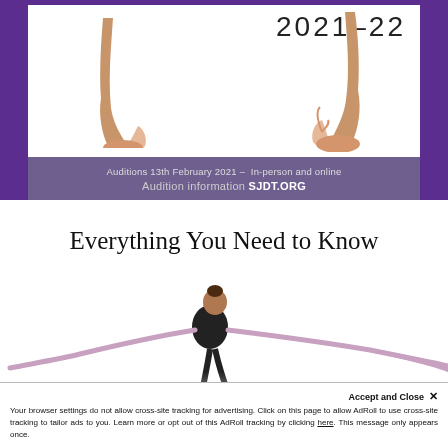[Figure (photo): Dance audition banner with purple background, two ballet dancers' feet/legs on pointe at bottom left and right of white area, year text '2021-22' in upper right, and a dark purple caption bar with audition details.]
Auditions 13th February 2021 – In-person and online
Audition information SJDT.ORG
Everything You Need to Know
[Figure (photo): Ballet dancer in a dark leotard with arms extended wide, performing an arabesque-style pose against a white background. Another dancer's extended leg visible on the right.]
Accept and Close ✕
Your browser settings do not allow cross-site tracking for advertising. Click on this page to allow AdRoll to use cross-site tracking to tailor ads to you. Learn more or opt out of this AdRoll tracking by clicking here. This message only appears once.